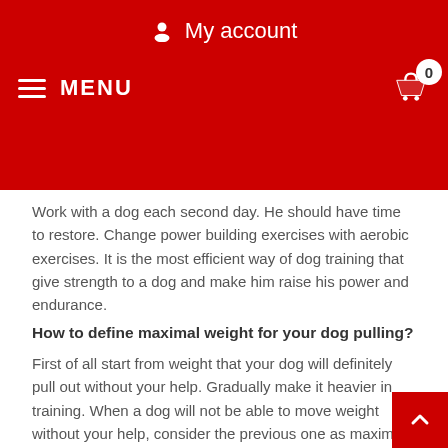My account
MENU
Work with a dog each second day. He should have time to restore. Change power building exercises with aerobic exercises. It is the most efficient way of dog training that give strength to a dog and make him raise his power and endurance.
How to define maximal weight for your dog pulling?
First of all start from weight that your dog will definitely pull out without your help. Gradually make it heavier in training. When a dog will not be able to move weight without your help, consider the previous one as maximal.
Timetable for dog training for a week:
Day 1 Aerobic exercises.
Day 2 Work with weights.
Day 3 Aerobic exercises.
Day 4 Work with weights.
Day 5 Aerobic exercises.